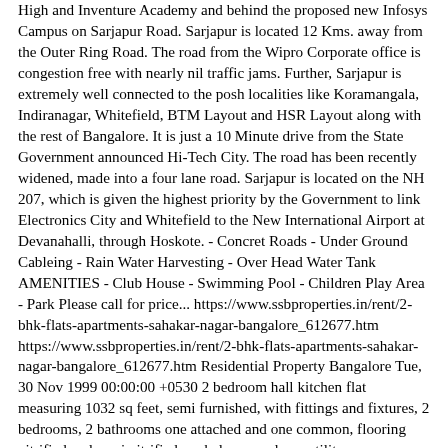High and Inventure Academy and behind the proposed new Infosys Campus on Sarjapur Road. Sarjapur is located 12 Kms. away from the Outer Ring Road. The road from the Wipro Corporate office is congestion free with nearly nil traffic jams. Further, Sarjapur is extremely well connected to the posh localities like Koramangala, Indiranagar, Whitefield, BTM Layout and HSR Layout along with the rest of Bangalore. It is just a 10 Minute drive from the State Government announced Hi-Tech City. The road has been recently widened, made into a four lane road. Sarjapur is located on the NH 207, which is given the highest priority by the Government to link Electronics City and Whitefield to the New International Airport at Devanahalli, through Hoskote. - Concret Roads - Under Ground Cableing - Rain Water Harvesting - Over Head Water Tank AMENITIES - Club House - Swimming Pool - Children Play Area - Park Please call for price... https://www.ssbproperties.in/rent/2-bhk-flats-apartments-sahakar-nagar-bangalore_612677.htm https://www.ssbproperties.in/rent/2-bhk-flats-apartments-sahakar-nagar-bangalore_612677.htm Residential Property Bangalore Tue, 30 Nov 1999 00:00:00 +0530 2 bedroom hall kitchen flat measuring 1032 sq feet, semi furnished, with fittings and fixtures, 2 bedrooms, 2 bathrooms one attached and one common, flooring vitrified and semi vitrified, on balcony and one utility, one open car parking, geysers in bathrooms, chimney in kitchen, Gated Community project, consisting of 368 apartments, spreadout in 6 acres and 15 blocks, consisting of 4 floors, with large open spaces,